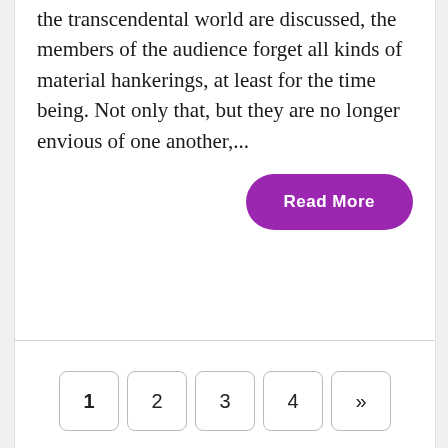the transcendental world are discussed, the members of the audience forget all kinds of material hankerings, at least for the time being. Not only that, but they are no longer envious of one another,...
Read More
1  2  3  4  »
Recent From Japa Technique